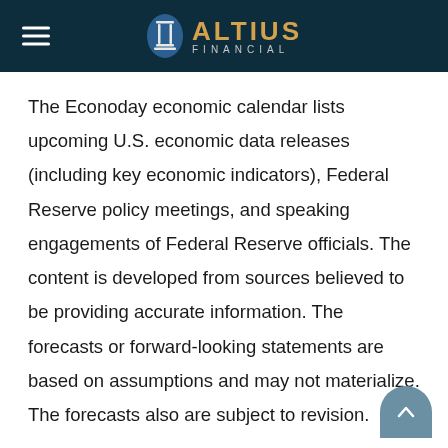ALTIUS FINANCIAL
The Econoday economic calendar lists upcoming U.S. economic data releases (including key economic indicators), Federal Reserve policy meetings, and speaking engagements of Federal Reserve officials. The content is developed from sources believed to be providing accurate information. The forecasts or forward-looking statements are based on assumptions and may not materialize. The forecasts also are subject to revision.